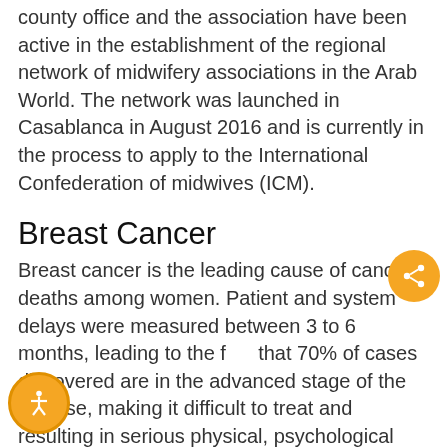county office and the association have been active in the establishment of the regional network of midwifery associations in the Arab World. The network was launched in Casablanca in August 2016 and is currently in the process to apply to the International Confederation of midwives (ICM).
Breast Cancer
Breast cancer is the leading cause of cancer deaths among women. Patient and system delays were measured between 3 to 6 months, leading to the fact that 70% of cases discovered are in the advanced stage of the disease, making it difficult to treat and resulting in serious physical, psychological and social impairment.
Under generous funding from the government of Japan, and in partnership with Japanese and national governmental and non-governmental organizations, UNFPA is implementing  a